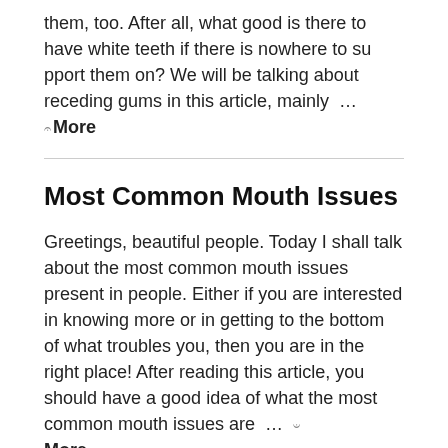them, too. After all, what good is there to have white teeth if there is nowhere to su pport them on? We will be talking about receding gums in this article, mainly … More
Most Common Mouth Issues
Greetings, beautiful people. Today I shall talk about the most common mouth issues present in people. Either if you are interested in knowing more or in getting to the bottom of what troubles you, then you are in the right place! After reading this article, you should have a good idea of what the most common mouth issues are … More
11 Consequences of Grinding Your